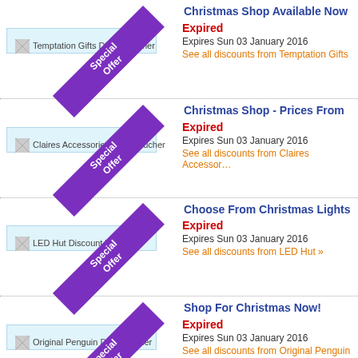Christmas Shop Available Now
[Figure (other): Temptation Gifts Discount Voucher with Special Offer purple ribbon banner]
Expired
Expires Sun 03 January 2016
See all discounts from Temptation Gifts
Christmas Shop - Prices From
[Figure (other): Claires Accessories Discount Voucher with Special Offer purple ribbon banner]
Expired
Expires Sun 03 January 2016
See all discounts from Claires Accessories
Choose From Christmas Lights
[Figure (other): LED Hut Discount Voucher with Special Offer purple ribbon banner]
Expired
Expires Sun 03 January 2016
See all discounts from LED Hut »
Shop For Christmas Now!
[Figure (other): Original Penguin Discount Voucher with Special Offer purple ribbon banner]
Expired
Expires Sun 03 January 2016
See all discounts from Original Penguin